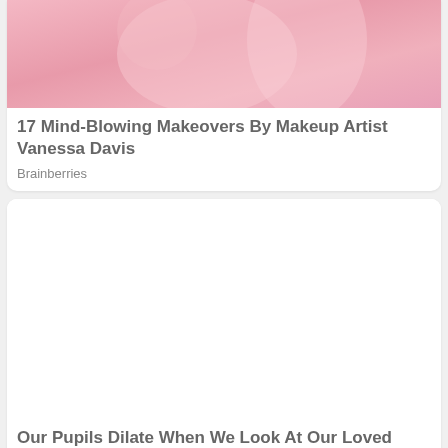[Figure (photo): Colorful pink makeup and jewel-adorned face, artistic makeup look by Vanessa Davis]
17 Mind-Blowing Makeovers By Makeup Artist Vanessa Davis
Brainberries
[Figure (photo): White/blank image placeholder for second card]
Our Pupils Dilate When We Look At Our Loved Ones
Brainberries
[Figure (photo): Partial photo of a person, cropped at bottom of page]